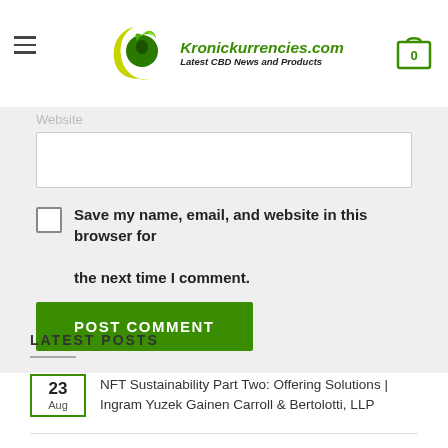Kronickurrencies.com — Latest CBD News and Products
Website
Save my name, email, and website in this browser for the next time I comment.
POST COMMENT
LATEST POSTS
NFT Sustainability Part Two: Offering Solutions | Ingram Yuzek Gainen Carroll & Bertolotti, LLP